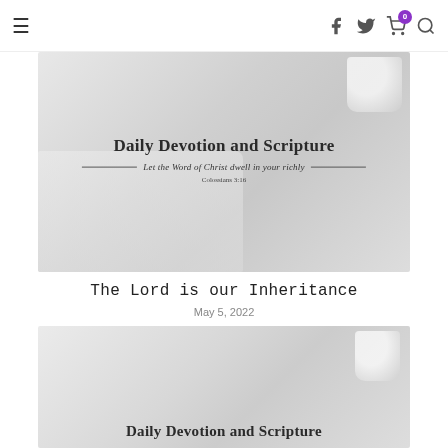≡  [nav icons: facebook, twitter, cart(0), search]
[Figure (photo): Daily Devotion and Scripture banner image showing an open Bible/book and a white mug, with text 'Daily Devotion and Scripture' and subtitle 'Let the Word of Christ dwell in your richly — Colossians 3:16', in black and white/gray tones]
The Lord is our Inheritance
May 5, 2022
[Figure (photo): Daily Devotion and Scripture banner image (partial), showing a white mug and the beginning of the title 'Daily Devotion and Scripture' in black and white/gray tones]